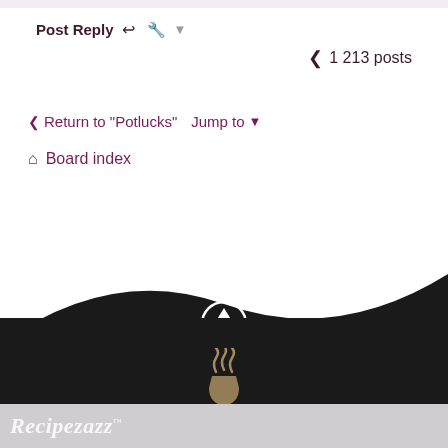Post Reply  [icons]  1 213 posts
< Return to “Potlucks”   Jump to ▾
⌂ Board index
[Figure (screenshot): Website footer with dark wave background, up-arrow icon circle, coffee steam logo on dark background, and Recipezazz logo on grey bar at bottom]